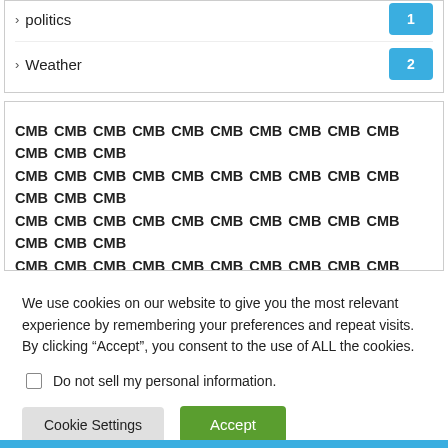> politics  1
> Weather  2
CMB CMB CMB CMB CMB CMB CMB CMB CMB CMB CMB CMB CMB CMB CMB CMB CMB CMB CMB CMB CMB CMB CMB CMB CMB CMB CMB CMB CMB CMB CMB CMB CMB CMB CMB CMB CMB CMB CMB CMB CMB CMB CMB CMB CMB CMB CMB CMB CMB CMB CMB CMB CMB CMB CMB CMB CMB CMB CMB CMB CMB CMB CMB CMB CMB CMB CMB CMB CMB CMB CMB CMB CMB CMB CMB CMB CMB CMB CMB CMB CMB CMB CMB CMB CMB CMB CMB CMB CMB CMB CMB
We use cookies on our website to give you the most relevant experience by remembering your preferences and repeat visits. By clicking “Accept”, you consent to the use of ALL the cookies.
Do not sell my personal information.